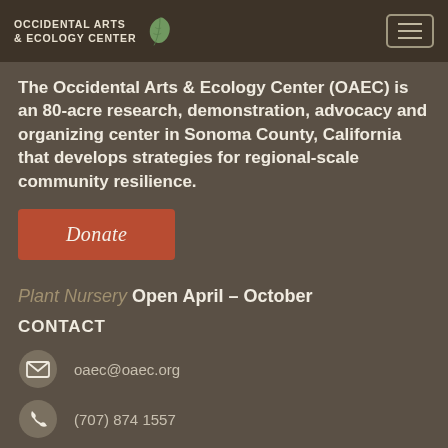Occidental Arts & Ecology Center
The Occidental Arts & Ecology Center (OAEC) is an 80-acre research, demonstration, advocacy and organizing center in Sonoma County, California that develops strategies for regional-scale community resilience.
Donate
Plant Nursery Open April – October
CONTACT
oaec@oaec.org
(707) 874 1557
15290 Coleman Valley Rd.